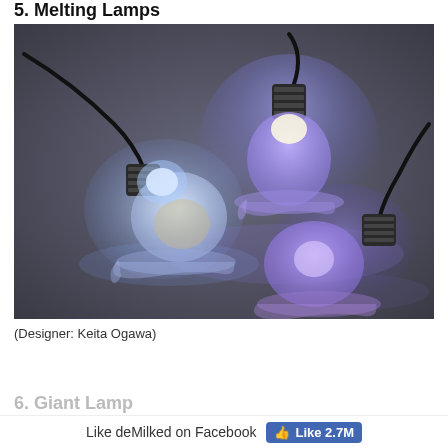5. Melting Lamps
[Figure (photo): Three glowing light bulbs that appear to be melting, lying on their sides on a flat surface. The bulbs emit blue and purple light and look as if they are made of melting glass or wax. Black cords extend from the metal screw bases.]
(Designer: Keita Ogawa)
6. Giant Lamp
Like deMilked on Facebook
Like 2.7M